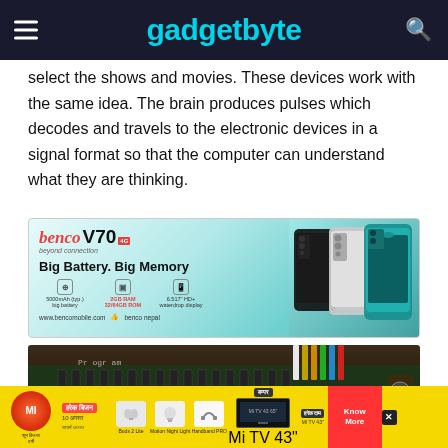gadgetbyte
select the shows and movies. These devices work with the same idea. The brain produces pulses which decodes and travels to the electronic devices in a signal format so that the computer can understand what they are thinking.
[Figure (photo): Benco V70 4G smartphone advertisement banner. Shows the brand logo, tagline 'beyond connection', headline 'Big Battery. Big Memory', specs icons (5000mAh big battery, 2GB RAM 32/64GB ROM, 6.517 HD+ waterdrop display), website www.bencomobile.com and Facebook benco nepal. Three smartphones shown on the right side in black, silver and teal/green colors.]
[Figure (photo): Close-up photograph of an electronic circuit board showing multiple audio jack connectors and colorful cables plugged in. Text 'Program' and 'J2' visible on the board.]
[Figure (photo): Bottom banner advertisement for Xiaomi/Mi products. Shows Mi logo in red circle, 'हरेक बिजन' text in red, '10 अगस्त' tag, product images including Buds 2 Lite, Motion Night Light, Handband PRO, Mi TV, and 'Know More' button in red. Yellow background.]